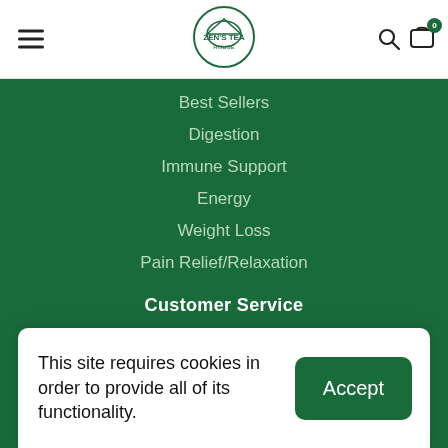Zen's Tea House — navigation header with hamburger menu, logo, search and cart icons
Best Sellers
Digestion
Immune Support
Energy
Weight Loss
Pain Relief/Relaxation
Customer Service
Contact Us
This site requires cookies in order to provide all of its functionality.